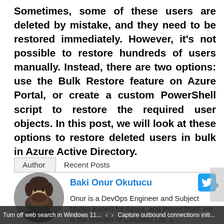Sometimes, some of these users are deleted by mistake, and they need to be restored immediately. However, it's not possible to restore hundreds of users manually. Instead, there are two options: use the Bulk Restore feature on Azure Portal, or create a custom PowerShell script to restore the required user objects. In this post, we will look at these options to restore deleted users in bulk in Azure Active Directory.
Author | Recent Posts
Baki Onur Okutucu
[Figure (photo): Circular profile photo of Baki Onur Okutucu, a man with dark beard and hair]
Onur is a DevOps Engineer and Subject Matter Expert for Azure, and PowerShell. He is the founder of Clouderz Ltd, a
Turn off web search in Windows 11... < > Capture outbound connections initi...